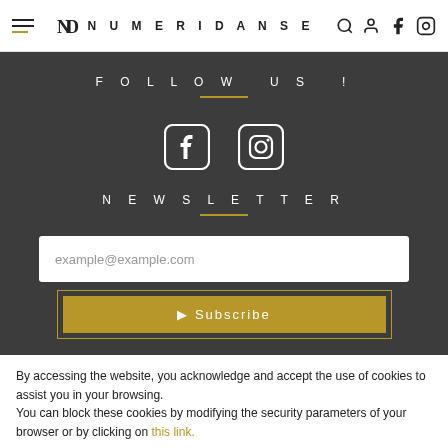NUMERIDANSE
FOLLOW US !
[Figure (illustration): Facebook and Instagram social media icons in white on dark background]
NEWSLETTER
example@example.com
▶ Subscribe
By accessing the website, you acknowledge and accept the use of cookies to assist you in your browsing.
You can block these cookies by modifying the security parameters of your browser or by clicking on this link.
I accept    Learn more